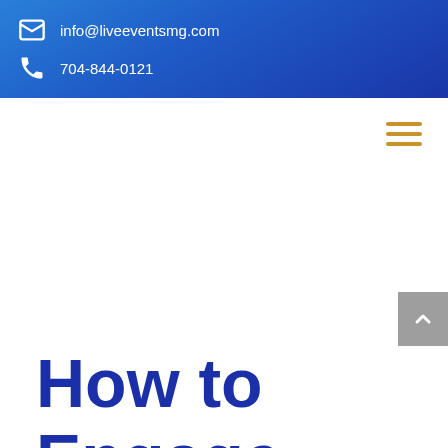info@liveeventsmg.com  704-844-0121
[Figure (other): Hamburger menu icon with three horizontal orange lines]
[Figure (other): Grey scroll-to-top button with upward chevron arrow]
How to Engage